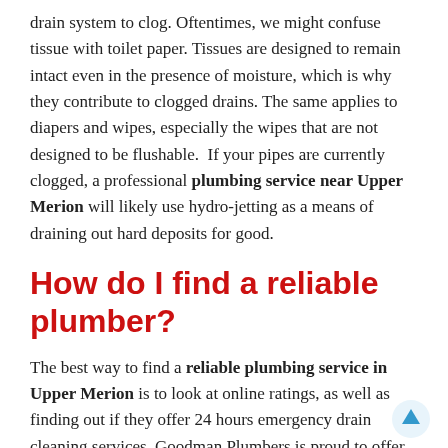drain system to clog. Oftentimes, we might confuse tissue with toilet paper. Tissues are designed to remain intact even in the presence of moisture, which is why they contribute to clogged drains. The same applies to diapers and wipes, especially the wipes that are not designed to be flushable. If your pipes are currently clogged, a professional plumbing service near Upper Merion will likely use hydro-jetting as a means of draining out hard deposits for good.
How do I find a reliable plumber?
The best way to find a reliable plumbing service in Upper Merion is to look at online ratings, as well as finding out if they offer 24 hours emergency drain cleaning services. Goodman Plumbers is proud to offer exceptional drain cleaning services to all home and business owners. If you